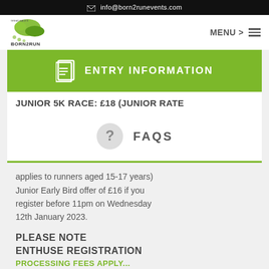✉ info@born2runevents.com
[Figure (logo): Born2Run logo with running shoe illustration in green]
MENU >
ENTRY INFORMATION
JUNIOR 5K RACE: £18 (junior rate
FAQS
applies to runners aged 15-17 years) Junior Early Bird offer of £16 if you register before 11pm on Wednesday 12th January 2023.
PLEASE NOTE
ENTHUSE REGISTRATION
PROCESSING FEES APPLY...